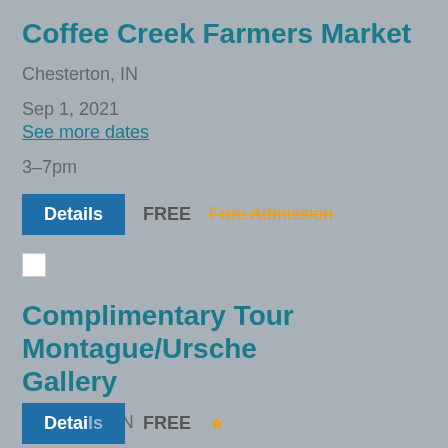Coffee Creek Farmers Market
Chesterton, IN
Sep 1, 2021
See more dates
3–7pm
Details  FREE  Free Admission
[Figure (photo): Broken image placeholder]
Complimentary Tour Montague/Ursche Gallery
Valapraiso, IN
Sep 2, 2021
Details  FREE